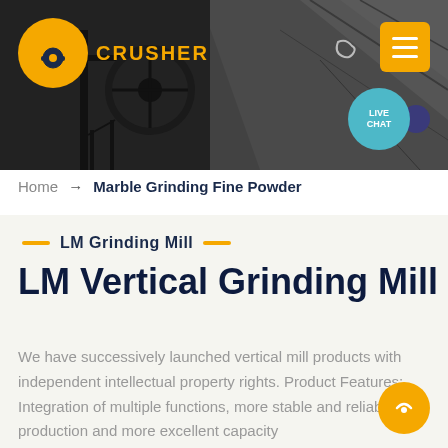[Figure (screenshot): Dark industrial header banner showing mining/crushing machinery with company logo (yellow circular icon), moon icon, yellow menu button, and teal Live Chat bubble overlay]
Home → Marble Grinding Fine Powder
— LM Grinding Mill —
LM Vertical Grinding Mill
We have successively launched vertical mill products with independent intellectual property rights. Product Features: Integration of multiple functions, more stable and reliable production and more excellent capacity